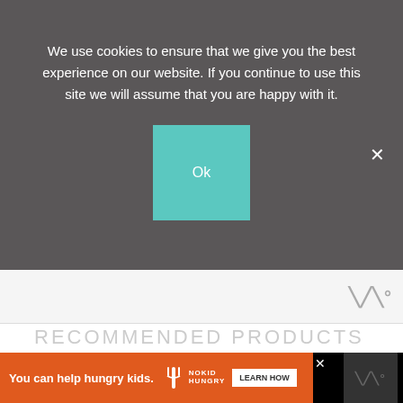We use cookies to ensure that we give you the best experience on our website. If you continue to use this site we will assume that you are happy with it.
Ok
[Figure (logo): Website logo mark - stylized W with degree symbol in gray]
RECOMMENDED PRODUCTS
As an Amazon Associate and member of other affiliate programs, I earn from qualifying purchases.
[Figure (photo): Red digital instant-read food thermometer showing 135 degrees]
You can help hungry kids. NOKID HUNGRY LEARN HOW